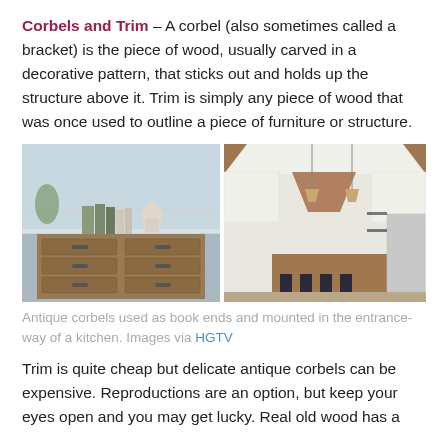Corbels and Trim – A corbel (also sometimes called a bracket) is the piece of wood, usually carved in a decorative pattern, that sticks out and holds up the structure above it. Trim is simply any piece of wood that was once used to outline a piece of furniture or structure.
[Figure (photo): Two side-by-side photos: left shows antique corbels used as bookends on a wooden dresser; right shows corbels mounted in the entrance-way of a white kitchen with a copper range hood.]
Antique corbels used as book ends and mounted in the entrance-way of a kitchen. Images via HGTV
Trim is quite cheap but delicate antique corbels can be expensive. Reproductions are an option, but keep your eyes open and you may get lucky. Real old wood has a